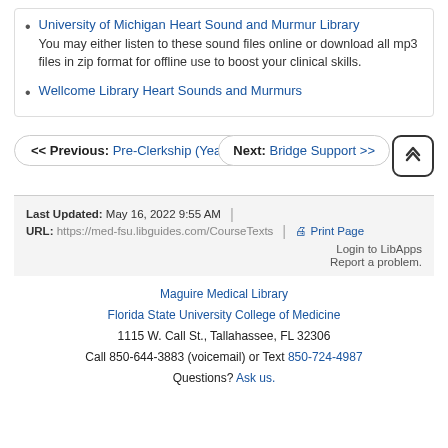University of Michigan Heart Sound and Murmur Library
You may either listen to these sound files online or download all mp3 files in zip format for offline use to boost your clinical skills.
Wellcome Library Heart Sounds and Murmurs
<< Previous: Pre-Clerkship (Years 1-2)
Next: Bridge Support >>
Last Updated: May 16, 2022 9:55 AM | URL: https://med-fsu.libguides.com/CourseTexts | Print Page
Login to LibApps
Report a problem.
Maguire Medical Library
Florida State University College of Medicine
1115 W. Call St., Tallahassee, FL 32306
Call 850-644-3883 (voicemail) or Text 850-724-4987
Questions? Ask us.